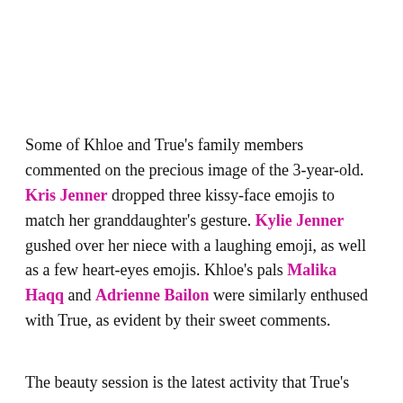Some of Khloe and True's family members commented on the precious image of the 3-year-old. Kris Jenner dropped three kissy-face emojis to match her granddaughter's gesture. Kylie Jenner gushed over her niece with a laughing emoji, as well as a few heart-eyes emojis. Khloe's pals Malika Haqq and Adrienne Bailon were similarly enthused with True, as evident by their sweet comments.
The beauty session is the latest activity that True's